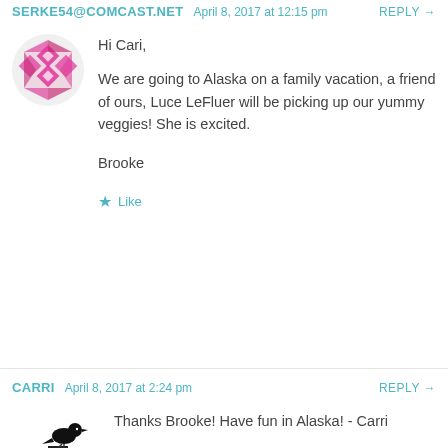SERKE54@COMCAST.NET   April 8, 2017 at 12:15 pm   REPLY →
Hi Cari,

We are going to Alaska on a family vacation, a friend of ours, Luce LeFluer will be picking up our yummy veggies! She is excited.

Brooke
★ Like
CARRI   April 8, 2017 at 2:24 pm   REPLY →
Thanks Brooke! Have fun in Alaska! - Carri
★ Like